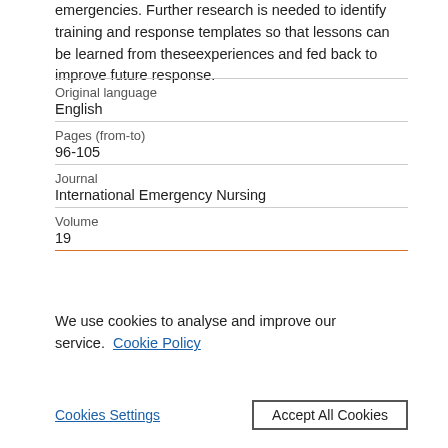emergencies. Further research is needed to identify training and response templates so that lessons can be learned from these experiences and fed back to improve future response.
| Original language | English |
| Pages (from-to) | 96-105 |
| Journal | International Emergency Nursing |
| Volume | 19 |
We use cookies to analyse and improve our service. Cookie Policy
Cookies Settings   Accept All Cookies